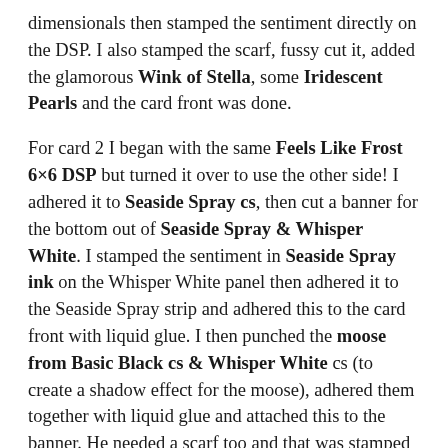dimensionals then stamped the sentiment directly on the DSP. I also stamped the scarf, fussy cut it, added the glamorous Wink of Stella, some Iridescent Pearls and the card front was done.
For card 2 I began with the same Feels Like Frost 6×6 DSP but turned it over to use the other side! I adhered it to Seaside Spray cs, then cut a banner for the bottom out of Seaside Spray & Whisper White. I stamped the sentiment in Seaside Spray ink on the Whisper White panel then adhered it to the Seaside Spray strip and adhered this to the card front with liquid glue. I then punched the moose from Basic Black cs & Whisper White cs (to create a shadow effect for the moose), adhered them together with liquid glue and attached this to the banner. He needed a scarf too and that was stamped in Cherry Cobbler ink, fussy cut and adhered with liquid glue. And oh yes, that scarf got Wink of Stella as well. A small Rhinestone Basic